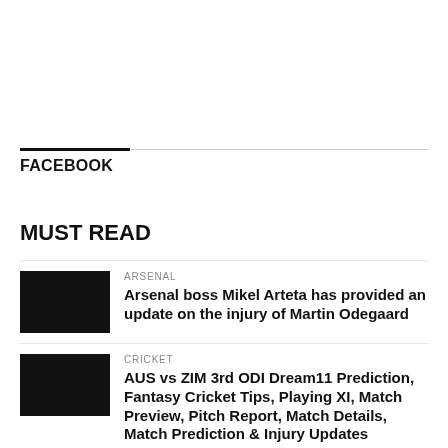FACEBOOK
MUST READ
ARSENAL
Arsenal boss Mikel Arteta has provided an update on the injury of Martin Odegaard
CRICKET
AUS vs ZIM 3rd ODI Dream11 Prediction, Fantasy Cricket Tips, Playing XI, Match Preview, Pitch Report, Match Details, Match Prediction & Injury Updates
CRICKET